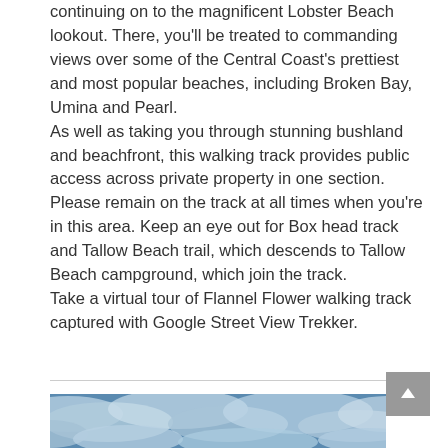continuing on to the magnificent Lobster Beach lookout. There, you'll be treated to commanding views over some of the Central Coast's prettiest and most popular beaches, including Broken Bay, Umina and Pearl.
As well as taking you through stunning bushland and beachfront, this walking track provides public access across private property in one section. Please remain on the track at all times when you're in this area. Keep an eye out for Box head track and Tallow Beach trail, which descends to Tallow Beach campground, which join the track.
Take a virtual tour of Flannel Flower walking track captured with Google Street View Trekker.
[Figure (photo): Aerial or overhead view of ocean/coastal scene with blue water and white clouds or waves visible at the bottom of the page.]